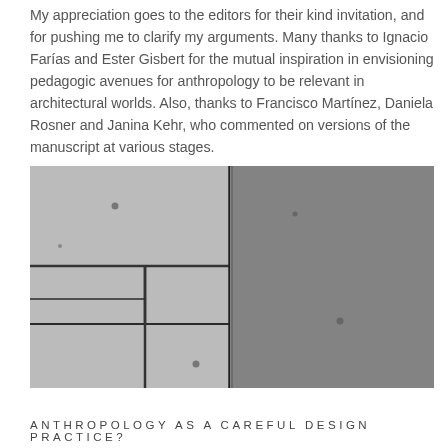My appreciation goes to the editors for their kind invitation, and for pushing me to clarify my arguments. Many thanks to Ignacio Farías and Ester Gisbert for the mutual inspiration in envisioning pedagogic avenues for anthropology to be relevant in architectural worlds. Also, thanks to Francisco Martínez, Daniela Rosner and Janina Kehr, who commented on versions of the manuscript at various stages.
[Figure (photo): A close-up photograph of two concrete or stone wall surfaces side by side. The left panel shows lighter grey concrete with a grid of rectangular tile-like seams. The right panel shows a darker, rougher grey concrete surface with a more uniform texture.]
ANTHROPOLOGY AS A CAREFUL DESIGN PRACTICE?